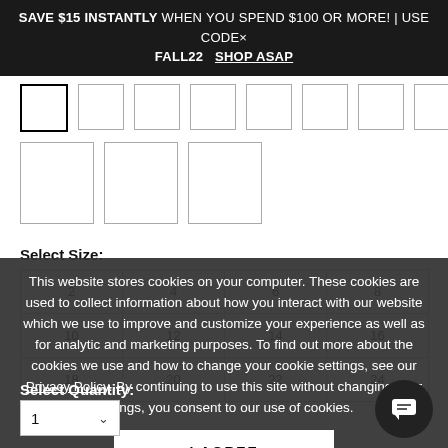SAVE $15 INSTANTLY WHEN YOU SPEND $100 OR MORE! | USE CODE× FALL22  SHOP ASAP
[Figure (other): Two rows of product thumbnail images. Row 1 has 8 small square thumbnails (first one selected/outlined). Row 2 has 3 medium square thumbnails.]
Select Size:
[Figure (other): Size selection grid with sizes: 2, 4, 6, 8, 10, 12, 14, 16, 18, 20, 22, 24]
This website stores cookies on your computer. These cookies are used to collect information about how you interact with our website which we use to improve and customize your experience as well as for analytic and marketing purposes. To find out more about the cookies we use and how to change your cookie settings, see our Privacy Policy. By continuing to use this site without changing your settings, you consent to our use of cookies.
I AGREE
Select Quantity:
1